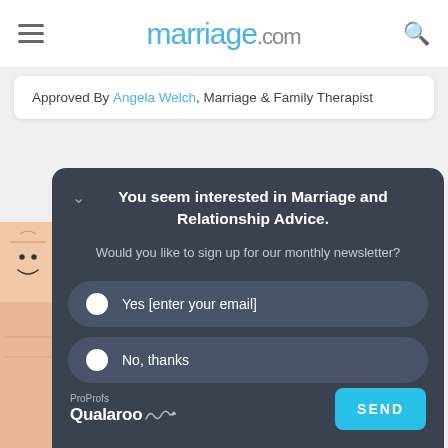marriage.com
Approved By Angela Welch, Marriage & Family Therapist
You seem interested in Marriage and Relationship Advice.
Would you like to sign up for our monthly newsletter?
Yes [enter your email]
No, thanks
ProProfs Qualaroo
SEND